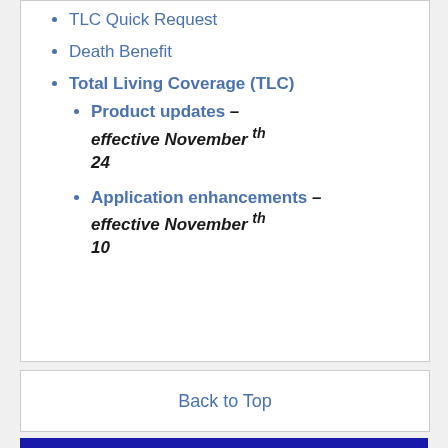TLC Quick Request
Death Benefit
Total Living Coverage (TLC)
Product updates – effective November 24th
Application enhancements – effective November 10th
Back to Top
ANNUITIES